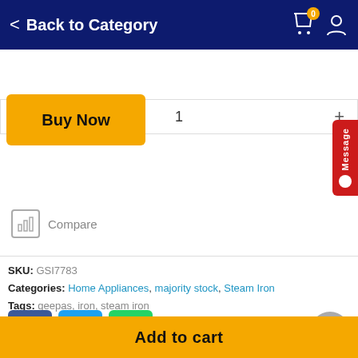Back to Category
1
Buy Now
Message
Compare
SKU: GSI7783
Categories: Home Appliances, majority stock, Steam Iron
Tags: geepas, iron, steam iron
Add to cart